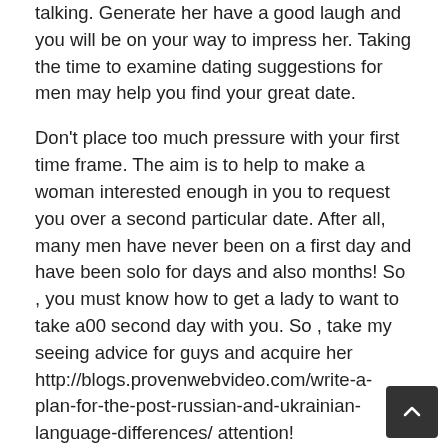talking. Generate her have a good laugh and you will be on your way to impress her. Taking the time to examine dating suggestions for men may help you find your great date.
Don't place too much pressure with your first time frame. The aim is to help to make a woman interested enough in you to request you over a second particular date. After all, many men have never been on a first day and have been solo for days and also months! So , you must know how to get a lady to want to take a00 second day with you. So , take my seeing advice for guys and acquire her http://blogs.provenwebvideo.com/write-a-plan-for-the-post-russian-and-ukrainian-language-differences/ attention!